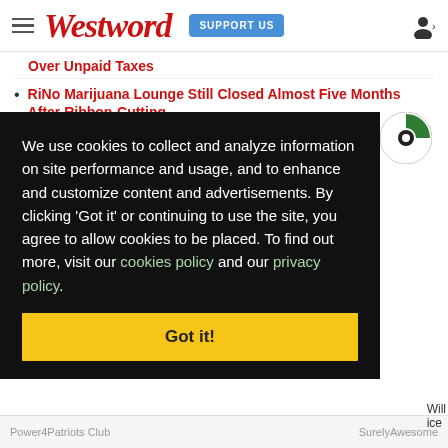Westword — SUPPORT US
Over Unpaid Taxes
RiNo Marijuana Lounge Still Closed Almost Five Months After Ribbon-Cutting
We use cookies to collect and analyze information on site performance and usage, and to enhance and customize content and advertisements. By clicking 'Got it' or continuing to use the site, you agree to allow cookies to be placed. To find out more, visit our cookies policy and our privacy policy.
Got it!
Power4Patriots Club
SurelyAwesome